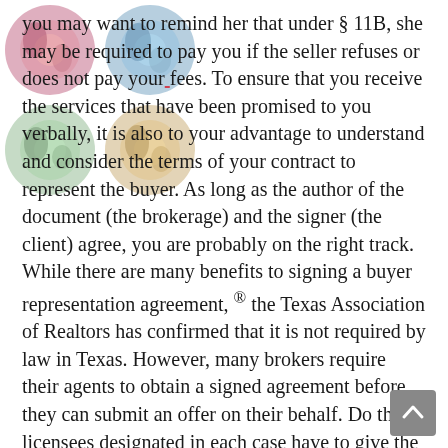you may want to remind her that under § 11B, she may be required to pay you if the seller refuses or does not pay your fees. To ensure that you receive the services that have been promised to you verbally, it is also to your advantage to understand and consider the terms of your contract to represent the buyer. As long as the author of the document (the brokerage) and the signer (the client) agree, you are probably on the right track. While there are many benefits to signing a buyer representation agreement, ® the Texas Association of Realtors has confirmed that it is not required by law in Texas. However, many brokers require their agents to obtain a signed agreement before they can submit an offer on their behalf. Do the licensees designated in each case have to give the respective potential buyers and interested sellers meaningful notice? What happens if the buyer terminates the contract prematurely? What is the expiration date? Is there a guarantee of happiness? Will I get money back when I close? Each agency contract of the exclusive buyer is different. Make sure you know what you're saying
[Figure (illustration): A 2x2 grid watermark of colorful circular/seal imagery overlaid on the top-left portion of the text.]